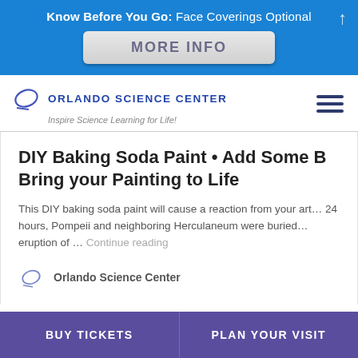Know Before You Go: Face Coverings Optional
MORE INFO
[Figure (logo): Orlando Science Center logo with ellipse icon and text 'ORLANDO SCIENCE CENTER — Inspire Science Learning for Life!' and hamburger menu icon on the right]
DIY Baking Soda Paint • Add Some B Bring your Painting to Life
This DIY baking soda paint will cause a reaction from your art… 24 hours, Pompeii and neighboring Herculaneum were buried… eruption of … Continue reading
Orlando Science Center
BUY TICKETS    PLAN YOUR VISIT